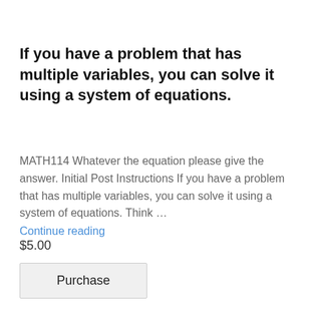If you have a problem that has multiple variables, you can solve it using a system of equations.
MATH114 Whatever the equation please give the answer. Initial Post Instructions If you have a problem that has multiple variables, you can solve it using a system of equations. Think …
Continue reading
$5.00
Purchase